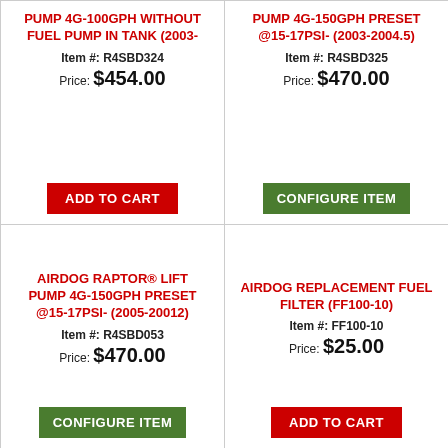PUMP 4G-100GPH WITHOUT FUEL PUMP IN TANK (2003-
Item #: R4SBD324
Price: $454.00
ADD TO CART
PUMP 4G-150GPH PRESET @15-17PSI- (2003-2004.5)
Item #: R4SBD325
Price: $470.00
CONFIGURE ITEM
AIRDOG RAPTOR® LIFT PUMP 4G-150GPH PRESET @15-17PSI- (2005-20012)
Item #: R4SBD053
Price: $470.00
CONFIGURE ITEM
AIRDOG REPLACEMENT FUEL FILTER (FF100-10)
Item #: FF100-10
Price: $25.00
ADD TO CART